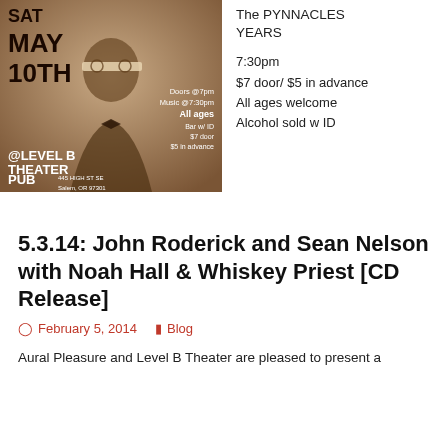[Figure (photo): Sepia-toned event poster showing a man in a suit with novelty glasses. Text reads: SAT MAY 10TH, Doors @7pm, Music @7:30pm, All ages, Bar w/ID, $7 door, $5 in advance, @LEVEL B THEATER PUB 445 HIGH ST SE Salem, OR 97301]
The PYNNACLES YEARS

7:30pm
$7 door/ $5 in advance
All ages welcome
Alcohol sold w ID
5.3.14: John Roderick and Sean Nelson with Noah Hall & Whiskey Priest [CD Release]
February 5, 2014   Blog
Aural Pleasure and Level B Theater are pleased to present a